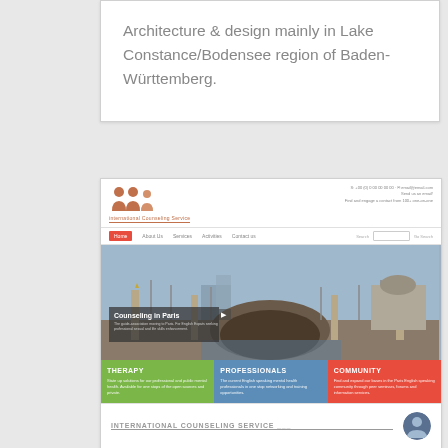Architecture & design mainly in Lake Constance/Bodensee region of Baden-Württemberg.
[Figure (screenshot): Screenshot of a website called 'International Counseling Service' showing a header with person silhouette logos, navigation bar with Home/About Us/Services/Activities/Contact Us tabs, a hero image of Paris bridge (Pont Alexandre III) with overlay text 'Counseling in Paris', three colored content boxes (green: THERAPY, blue: PROFESSIONALS, red: COMMUNITY) each with brief descriptions, and a footer area with 'INTERNATIONAL COUNSELING SERVICE' text and a circular avatar.]